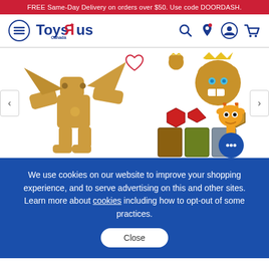FREE Same-Day Delivery on orders over $50. Use code DOORDASH.
[Figure (logo): Toys R Us Canada logo with hamburger menu, search, location, account, and cart icons in the navigation bar]
[Figure (photo): Bakugan toy product - a large golden robot/creature figure on the left and smaller golden bear-like character with crown and accessories including cards and tokens on the right]
We use cookies on our website to improve your shopping experience, and to serve advertising on this and other sites. Learn more about cookies including how to opt-out of some practices.
Close